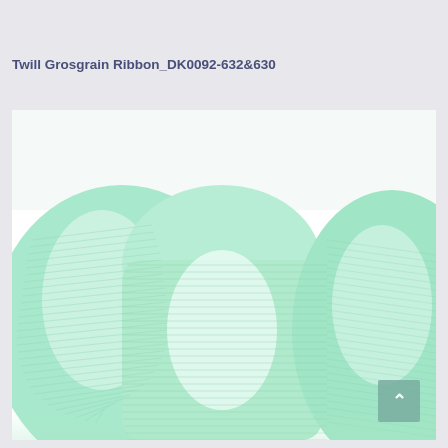Twill Grosgrain Ribbon_DK0092-632&630
[Figure (photo): Close-up photo of mint green/white twill grosgrain ribbon rolled in wavy loops, showing the ribbed texture of the fabric against a white background.]